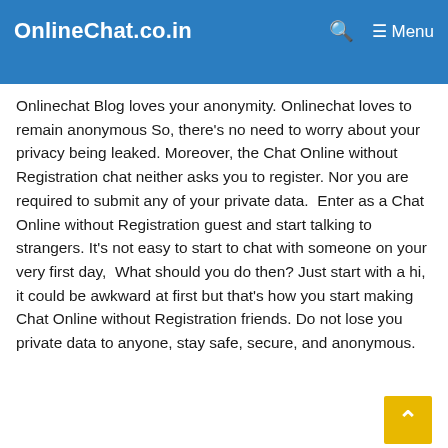OnlineChat.co.in  🔍  ☰ Menu
Onlinechat Blog loves your anonymity. Onlinechat loves to remain anonymous So, there's no need to worry about your privacy being leaked. Moreover, the Chat Online without Registration chat neither asks you to register. Nor you are required to submit any of your private data.  Enter as a Chat Online without Registration guest and start talking to strangers. It's not easy to start to chat with someone on your very first day,  What should you do then? Just start with a hi, it could be awkward at first but that's how you start making Chat Online without Registration friends. Do not lose your private data to anyone, stay safe, secure, and anonymous.